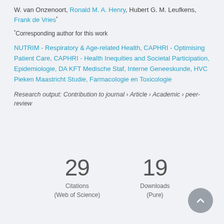W. van Onzenoort, Ronald M. A. Henry, Hubert G. M. Leufkens, Frank de Vries*
* Corresponding author for this work
NUTRIM - Respiratory & Age-related Health, CAPHRI - Optimising Patient Care, CAPHRI - Health Inequities and Societal Participation, Epidemiologie, DA KFT Medische Staf, Interne Geneeskunde, HVC Pieken Maastricht Studie, Farmacologie en Toxicologie
Research output: Contribution to journal › Article › Academic › peer-review
29 Citations (Web of Science)
19 Downloads (Pure)